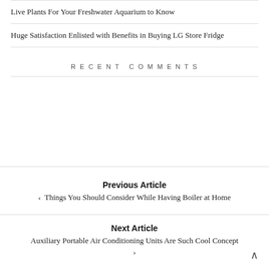Live Plants For Your Freshwater Aquarium to Know
Huge Satisfaction Enlisted with Benefits in Buying LG Store Fridge
RECENT COMMENTS
Previous Article
‹ Things You Should Consider While Having Boiler at Home
Next Article
Auxiliary Portable Air Conditioning Units Are Such Cool Concept ›